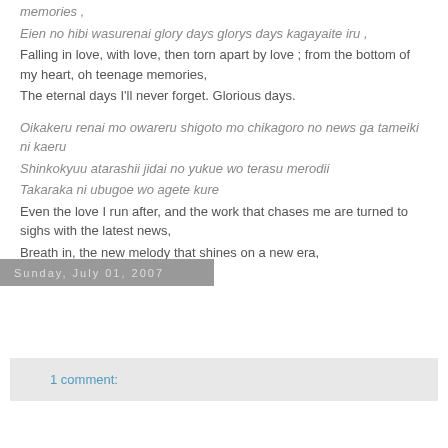memories ,
Eien no hibi wasurenai glory days glorys days kagayaite iru ,
Falling in love, with love, then torn apart by love ; from the bottom of my heart, oh teenage memories,
The eternal days I'll never forget. Glorious days.
Oikakeru renai mo owareru shigoto mo chikagoro no news ga tameiki ni kaeru
Shinkokyuu atarashii jidai no yukue wo terasu merodii
Takaraka ni ubugoe wo agete kure
Even the love I run after, and the work that chases me are turned to sighs with the latest news,
Breath in, the new melody that shines on a new era,
Cry out with all your pride!
1 comment:
Sunday, July 01, 2007